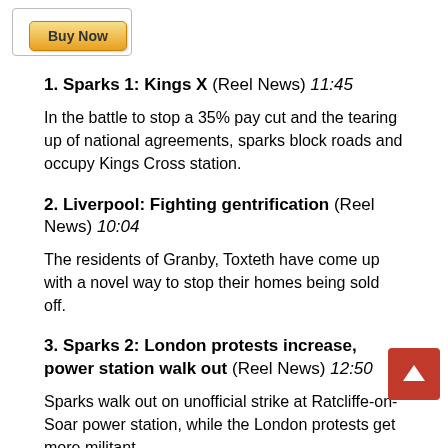[Figure (other): Buy Now button]
1. Sparks 1: Kings X (Reel News) 11:45
In the battle to stop a 35% pay cut and the tearing up of national agreements, sparks block roads and occupy Kings Cross station.
2. Liverpool: Fighting gentrification (Reel News) 10:04
The residents of Granby, Toxteth have come up with a novel way to stop their homes being sold off.
3. Sparks 2: London protests increase, power station walk out (Reel News) 12:50
Sparks walk out on unofficial strike at Ratcliffe-on-Soar power station, while the London protests get more militant.
4. Sparks 3: Rank and File Sparks & Occupy LSX unite